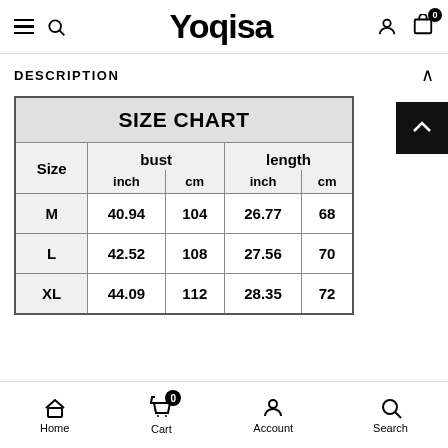Yoqisa
DESCRIPTION
| Size | bust inch | bust cm | length inch | length cm |
| --- | --- | --- | --- | --- |
| M | 40.94 | 104 | 26.77 | 68 |
| L | 42.52 | 108 | 27.56 | 70 |
| XL | 44.09 | 112 | 28.35 | 72 |
Home  Cart  Account  Search